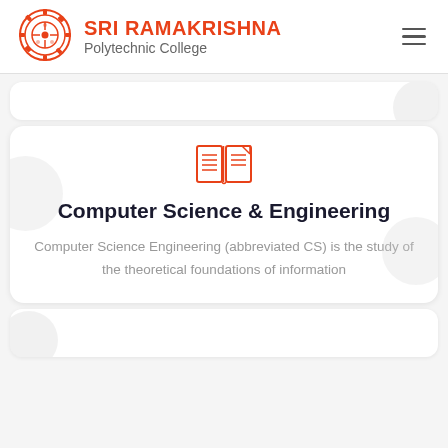[Figure (logo): Sri Ramakrishna Polytechnic College logo with gear/cog wheel design in orange/red]
SRI RAMAKRISHNA Polytechnic College
[Figure (illustration): Orange open book / syllabus icon]
Computer Science & Engineering
Computer Science Engineering (abbreviated CS) is the study of the theoretical foundations of information